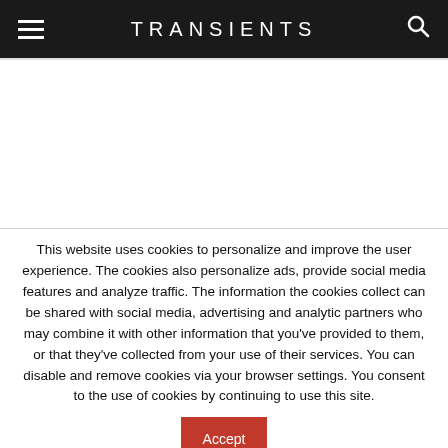TRANSIENTS
This website uses cookies to personalize and improve the user experience. The cookies also personalize ads, provide social media features and analyze traffic. The information the cookies collect can be shared with social media, advertising and analytic partners who may combine it with other information that you’ve provided to them, or that they’ve collected from your use of their services. You can disable and remove cookies via your browser settings. You consent to the use of cookies by continuing to use this site.
Accept
Privacy & Cookie Policy